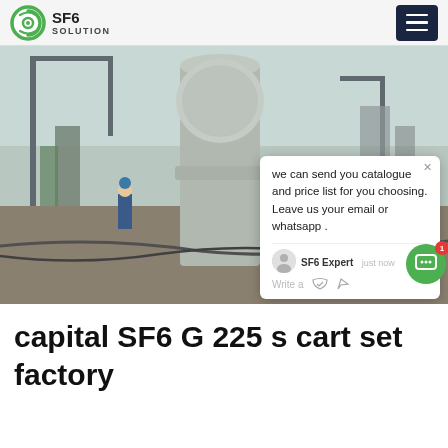SF6 SOLUTION
[Figure (photo): Workers in blue hard hats at an industrial electrical substation site, with large grey SF6 equipment visible. A chat popup overlay is visible on the right side of the image.]
capital SF6 G 225 s cart set factory